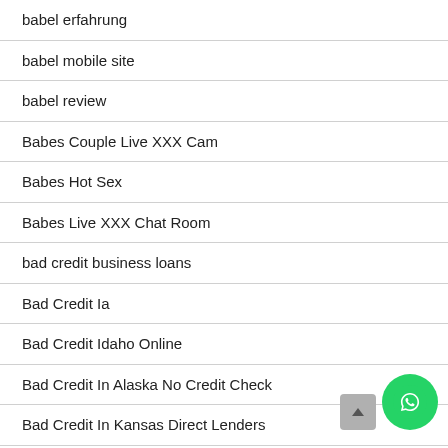babel erfahrung
babel mobile site
babel review
Babes Couple Live XXX Cam
Babes Hot Sex
Babes Live XXX Chat Room
bad credit business loans
Bad Credit Ia
Bad Credit Idaho Online
Bad Credit In Alaska No Credit Check
Bad Credit In Kansas Direct Lenders
Bad Credit In Kentucky
Bad Credit In Michigan No Credit Check